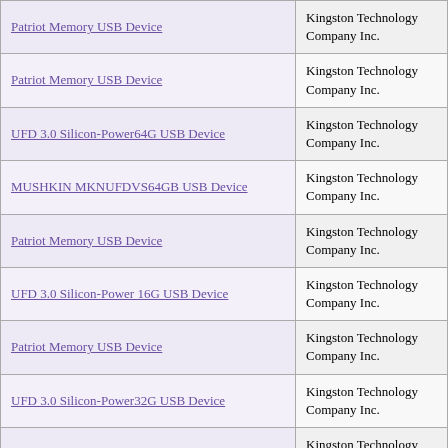| Device Name | Manufacturer |
| --- | --- |
| Patriot Memory USB Device | Kingston Technology Company Inc. |
| Patriot Memory USB Device | Kingston Technology Company Inc. |
| UFD 3.0 Silicon-Power64G USB Device | Kingston Technology Company Inc. |
| MUSHKIN MKNUFDVS64GB USB Device | Kingston Technology Company Inc. |
| Patriot Memory USB Device | Kingston Technology Company Inc. |
| UFD 3.0 Silicon-Power 16G USB Device | Kingston Technology Company Inc. |
| Patriot Memory USB Device | Kingston Technology Company Inc. |
| UFD 3.0 Silicon-Power32G USB Device | Kingston Technology Company Inc. |
| USB DISK 3.0 USB Device | Kingston Technology Company Inc. |
| MUSHKIN MKNUFDVP64GB USB Device | Kingston Technology Company Inc. |
| Patriot Memory USB Device | Kingston Technology Company Inc. |